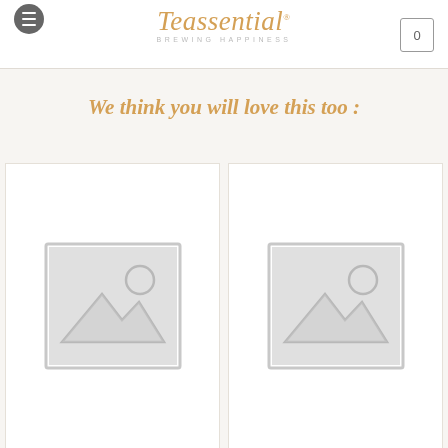Teassential® BREWING HAPPINESS
We think you will love this too :
[Figure (photo): Product placeholder image card 1 - gray image placeholder icon]
[Figure (photo): Product placeholder image card 2 - gray image placeholder icon]